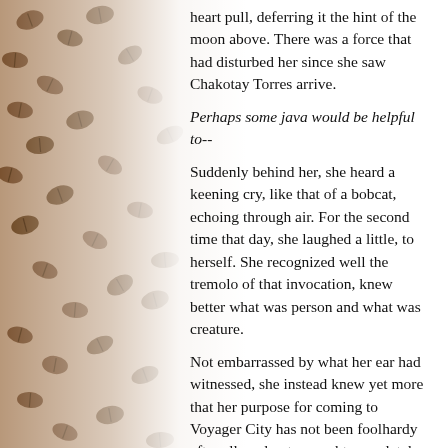heart pull, deferring it the hint of the moon above. There was a force that had disturbed her since she saw Chakotay Torres arrive.
Perhaps some java would be helpful to--
Suddenly behind her, she heard a keening cry, like that of a bobcat, echoing through air. For the second time that day, she laughed a little, to herself. She recognized well the tremolo of that invocation, knew better what was person and what was creature.
Not embarrassed by what her ear had witnessed, she instead knew yet more that her purpose for coming to Voyager City has not been foolhardy after all, and not wrought completely with bad omens--even if they were intertwined with the good.
It is almost time, she told herself. She has taken another -- albeit big -- step. She is almost ready...if not even more Klingon than even I gave her credit for!...She will